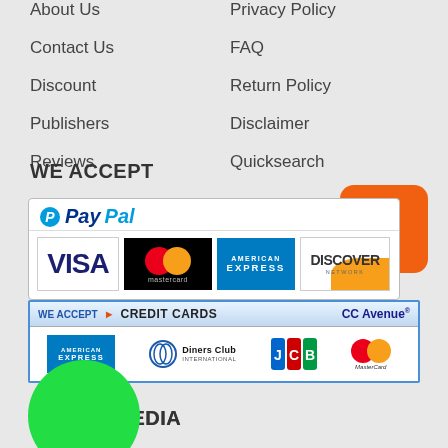About Us
Privacy Policy
Contact Us
FAQ
Discount
Return Policy
Publishers
Disclaimer
Reviews
Quicksearch
[Figure (other): Orange rounded rectangle button]
WE ACCEPT
[Figure (other): PayPal accepted payment panel showing VISA, Mastercard, American Express, and Discover cards]
[Figure (other): CC Avenue credit cards acceptance panel showing American Express, Diners Club International, JCB, and MasterCard]
[Figure (other): Green circle graphic overlapping the CC Avenue panel]
SOCIAL MEDIA